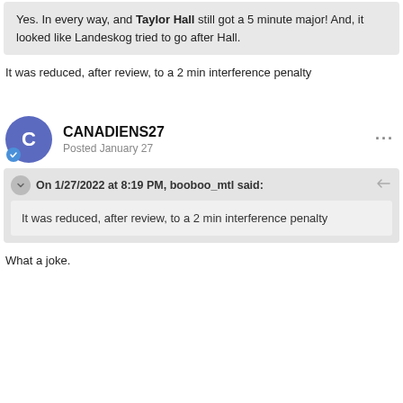Yes. In every way, and Taylor Hall still got a 5 minute major! And, it looked like Landeskog tried to go after Hall.
It was reduced, after review, to a 2 min interference penalty
CANADIENS27
Posted January 27
On 1/27/2022 at 8:19 PM, booboo_mtl said:
It was reduced, after review, to a 2 min interference penalty
What a joke.